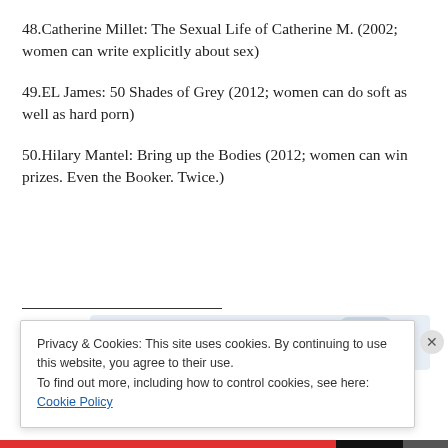48.Catherine Millet: The Sexual Life of Catherine M. (2002; women can write explicitly about sex)
49.EL James: 50 Shades of Grey (2012; women can do soft as well as hard porn)
50.Hilary Mantel: Bring up the Bodies (2012; women can win prizes. Even the Booker. Twice.)
[Figure (screenshot): GET THE APP banner with WordPress logo icon]
Privacy & Cookies: This site uses cookies. By continuing to use this website, you agree to their use.
To find out more, including how to control cookies, see here: Cookie Policy
Close and accept